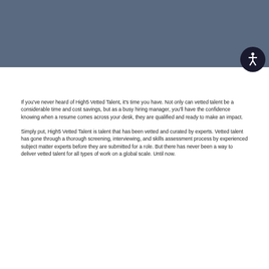[Figure (other): Dark slate-blue header bar spanning full width of page, approximately 112px tall, with a circular accessibility icon button in the lower-right corner]
If you've never heard of High5 Vetted Talent, it's time you have. Not only can vetted talent be a considerable time and cost savings, but as a busy hiring manager, you'll have the confidence knowing when a resume comes across your desk, they are qualified and ready to make an impact.
Simply put, High5 Vetted Talent is talent that has been vetted and curated by experts. Vetted talent has gone through a thorough screening, interviewing, and skills assessment process by experienced subject matter experts before they are submitted for a role. But there has never been a way to deliver vetted talent for all types of work on a global scale. Until now.